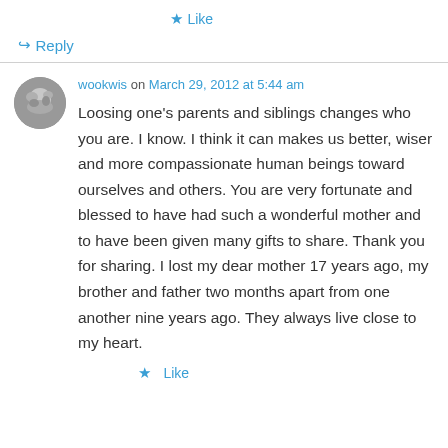★ Like
↳ Reply
wookwis on March 29, 2012 at 5:44 am
Loosing one's parents and siblings changes who you are. I know. I think it can makes us better, wiser and more compassionate human beings toward ourselves and others. You are very fortunate and blessed to have had such a wonderful mother and to have been given many gifts to share. Thank you for sharing. I lost my dear mother 17 years ago, my brother and father two months apart from one another nine years ago. They always live close to my heart.
★ Like